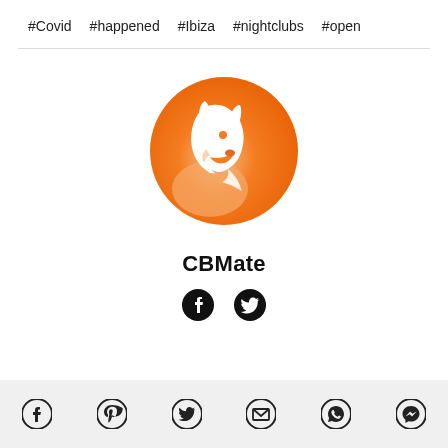#Covid  #happened  #Ibiza  #nightclubs  #open
[Figure (logo): CBMate logo: circular orange gradient background with white fox/wolf head silhouette facing right]
CBMate
[Figure (illustration): Author social icons: Facebook and Twitter icons in black]
Social sharing icons: Facebook, Pinterest, Twitter, Email, WhatsApp, Messenger